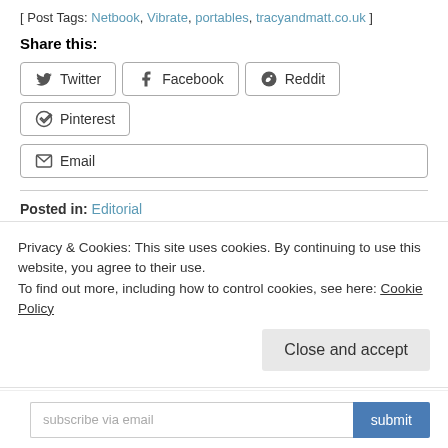[ Post Tags: Netbook, Vibrate, portables, tracyandmatt.co.uk ]
Share this:
[Figure (other): Social share buttons: Twitter, Facebook, Reddit, Pinterest, Email]
Posted in: Editorial
About the Author: Matt
More than 20 years in the IT industry. Blogging with a passion and thirst for new technology since 2005.
Privacy & Cookies: This site uses cookies. By continuing to use this website, you agree to their use.
To find out more, including how to control cookies, see here: Cookie Policy
Close and accept
subscribe via email   submit
Privacy guaranteed. We never share your info.